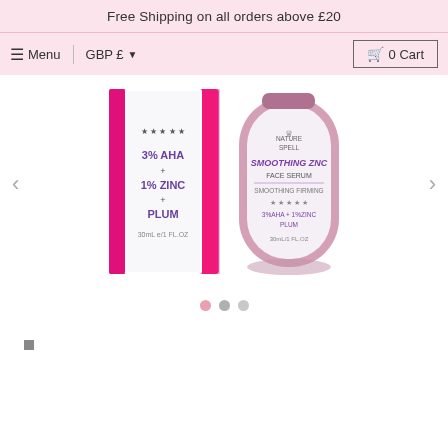Free Shipping on all orders above £20
☰ Menu   GBP £ ▼   🛒 0 Cart
[Figure (photo): Product photo of Nature Spell Smoothing Zinc Face Serum with 3% AHA + 1% Zinc + Plum, 30mL, shown with pink box packaging and bottle]
◀  ● ● ●  ▶